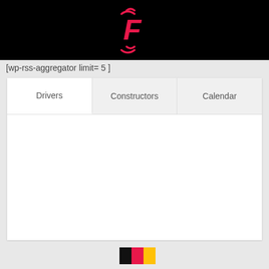[Figure (logo): F1 style logo with pink/red F letter and wifi-like arcs above and below on black background]
[wp-rss-aggregator limit= 5 ]
[Figure (screenshot): Mobile app UI showing tabs: Drivers (active/white), Constructors (grey), Calendar (grey), with white content area below]
[Figure (photo): Partial bottom strip showing flags or small images, partially cropped]